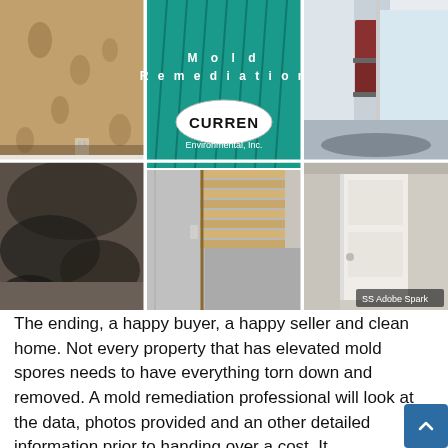[Figure (photo): Collage of six mold remediation photos: mold-damaged floral wallpaper (top-left), teal-tinted basement with 'Mold Remediation' text and Curren Environmental Inc. logo (top-center), hallway with equipment (top-right), heavy mold on floor/wall (bottom-left), staircase area after remediation (bottom-center), clean room/doorway (bottom-right). Adobe Spark watermark in bottom-right corner.]
The ending, a happy buyer, a happy seller and clean home. Not every property that has elevated mold spores needs to have everything torn down and removed. A mold remediation professional will look at the data, photos provided and an other detailed information prior to handing over a cost. It